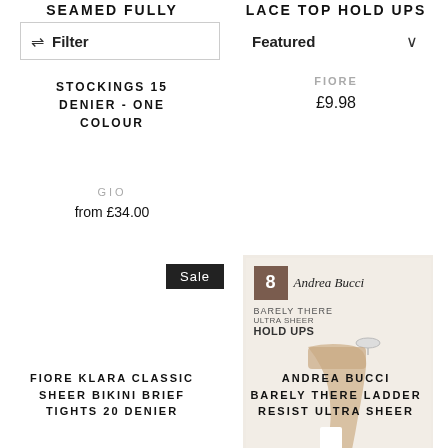SEAMED FULLY
LACE TOP HOLD UPS
Filter
Featured
STOCKINGS 15 DENIER - ONE COLOUR
GIO
from £34.00
FIORE
£9.98
Sale
[Figure (photo): Andrea Bucci Barely There Ultra Sheer Hold Ups product packaging showing a leg wearing sheer hosiery, with '8' denier label and brand name on packaging]
FIORE KLARA CLASSIC SHEER BIKINI BRIEF TIGHTS 20 DENIER
ANDREA BUCCI BARELY THERE LADDER RESIST ULTRA SHEER